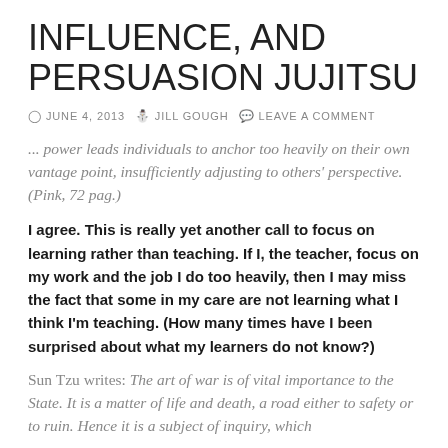INFLUENCE, AND PERSUASION JUJITSU
JUNE 4, 2013   JILL GOUGH   LEAVE A COMMENT
... power leads individuals to anchor too heavily on their own vantage point, insufficiently adjusting to others' perspective. (Pink, 72 pag.)
I agree. This is really yet another call to focus on learning rather than teaching.  If I, the teacher, focus on my work and the job I do too heavily, then I may miss the fact that some in my care are not learning what I think I'm teaching.  (How many times have I been surprised about what my learners do not know?)
Sun Tzu writes: The art of war is of vital importance to the State.  It is a matter of life and death, a road either to safety or to ruin. Hence it is a subject of inquiry, which